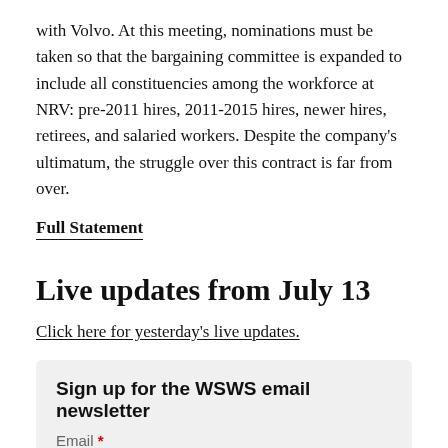with Volvo. At this meeting, nominations must be taken so that the bargaining committee is expanded to include all constituencies among the workforce at NRV: pre-2011 hires, 2011-2015 hires, newer hires, retirees, and salaried workers. Despite the company's ultimatum, the struggle over this contract is far from over.
Full Statement
Live updates from July 13
Click here for yesterday's live updates.
Sign up for the WSWS email newsletter
Email *